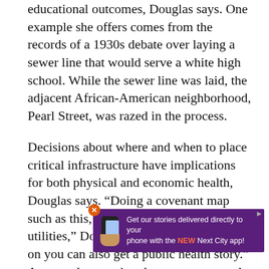educational outcomes, Douglas says. One example she offers comes from the records of a 1930s debate over laying a sewer line that would serve a white high school. While the sewer line was laid, the adjacent African-American neighborhood, Pearl Street, was razed in the process.
Decisions about where and when to place critical infrastructure have implications for both physical and economic health, Douglas says. “Doing a covenant map such as this, and laying on top of it the utilities,” Douglas says, “When you lay on you can also get a public health story.” As a result, mapping the property records and racial covenants, and superimposing infrastructure records, produces “a layered narrative,” Douglas says. She recalls a visit t… Yager review… es.
[Figure (other): Advertisement banner for Next City app: purple background with phone graphic and text 'Get our stories delivered directly to your phone with the NEW Next City app!']